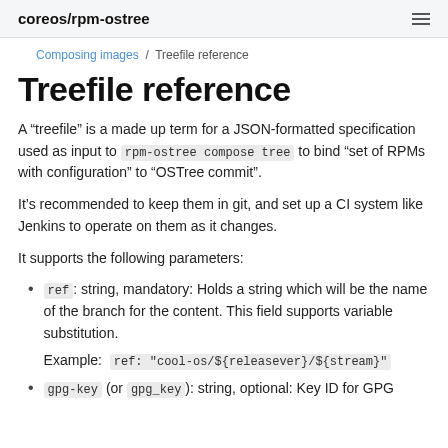coreos/rpm-ostree
Composing images / Treefile reference
Treefile reference
A “treefile” is a made up term for a JSON-formatted specification used as input to rpm-ostree compose tree to bind “set of RPMs with configuration” to “OSTree commit”.
It’s recommended to keep them in git, and set up a CI system like Jenkins to operate on them as it changes.
It supports the following parameters:
ref: string, mandatory: Holds a string which will be the name of the branch for the content. This field supports variable substitution.

Example: ref: "cool-os/${releasever}/${stream}"
gpg-key (or gpg_key): string, optional: Key ID for GPG